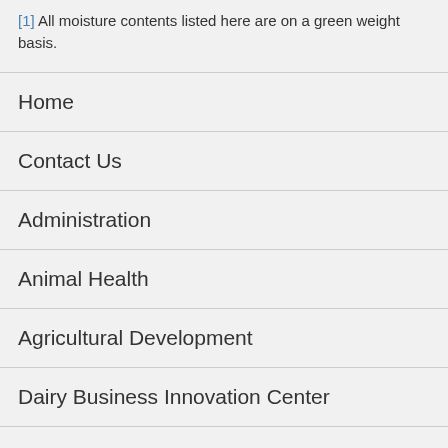[1] All moisture contents listed here are on a green weight basis.
Home
Contact Us
Administration
Animal Health
Agricultural Development
Dairy Business Innovation Center
Farm First
Food Safety Programs